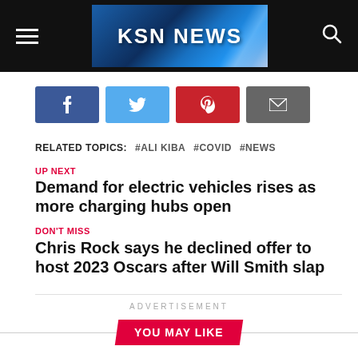KSN NEWS
Facebook share button
Twitter share button
Pinterest share button
Email share button
RELATED TOPICS: #ALI KIBA  #COVID  #NEWS
UP NEXT
Demand for electric vehicles rises as more charging hubs open
DON'T MISS
Chris Rock says he declined offer to host 2023 Oscars after Will Smith slap
ADVERTISEMENT
YOU MAY LIKE